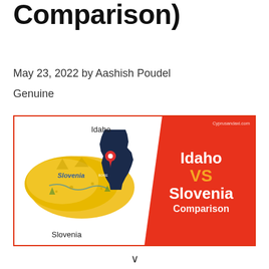Comparison)
May 23, 2022 by Aashish Poudel
Genuine
[Figure (illustration): Comparison infographic showing a map of Slovenia on the left (illustrated yellow map with 'Slovenia' label) and a dark blue silhouette of Idaho on the right, with 'Idaho' label. The right half has a red background with white text 'Idaho VS Slovenia Comparison' and 'VS' in orange. Small watermark reads Cyprusandaxi.com.]